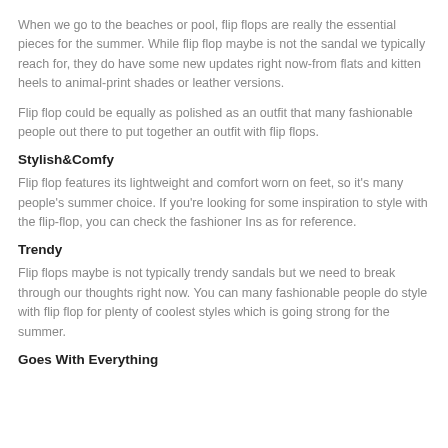When we go to the beaches or pool, flip flops are really the essential pieces for the summer. While flip flop maybe is not the sandal we typically reach for, they do have some new updates right now-from flats and kitten heels to animal-print shades or leather versions.
Flip flop could be equally as polished as an outfit that many fashionable people out there to put together an outfit with flip flops.
Stylish&Comfy
Flip flop features its lightweight and comfort worn on feet, so it's many people's summer choice. If you're looking for some inspiration to style with the flip-flop, you can check the fashioner Ins as for reference.
Trendy
Flip flops maybe is not typically trendy sandals but we need to break through our thoughts right now. You can many fashionable people do style with flip flop for plenty of coolest styles which is going strong for the summer.
Goes With Everything